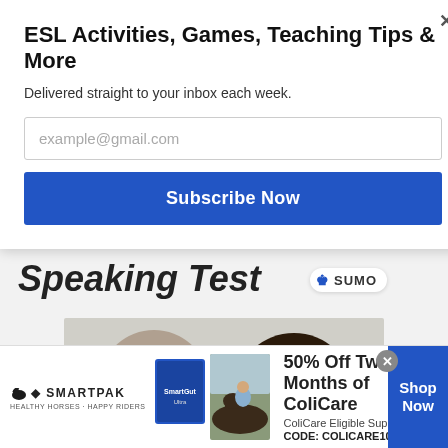ESL Activities, Games, Teaching Tips & More
Delivered straight to your inbox each week.
example@gmail.com
Subscribe Now
Speaking Test
[Figure (photo): Two people in a conversation/speaking test scenario, one facing away from camera and one woman with dark hair smiling]
[Figure (logo): SUMO badge with crown icon]
[Figure (infographic): SmartPak advertisement banner: 50% Off Two Months of ColiCare, ColiCare Eligible Supplements, CODE: COLICARE10, Shop Now button]